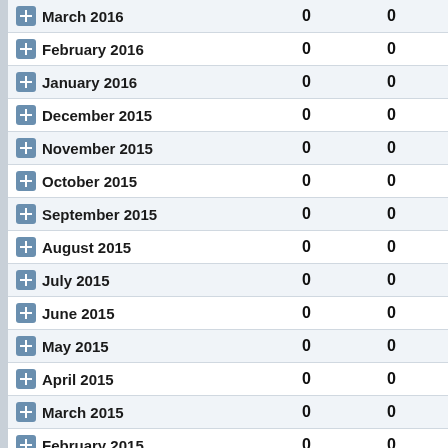| Month | Col1 | Col2 | Col3 |
| --- | --- | --- | --- |
| March 2016 | 0 | 0 | 0 |
| February 2016 | 0 | 0 | 0 |
| January 2016 | 0 | 0 | 0 |
| December 2015 | 0 | 0 | 0 |
| November 2015 | 0 | 0 | 0 |
| October 2015 | 0 | 0 | 0 |
| September 2015 | 0 | 0 | 0 |
| August 2015 | 0 | 0 | 0 |
| July 2015 | 0 | 0 | 0 |
| June 2015 | 0 | 0 | 0 |
| May 2015 | 0 | 0 | 0 |
| April 2015 | 0 | 0 | 0 |
| March 2015 | 0 | 0 | 0 |
| February 2015 | 0 | 0 | 0 |
| January 2015 | 0 | 0 | 0 |
| December 2014 | 0 | 0 | 0 |
| November 2014 | 0 | 0 | 0 |
| October 2014 | 0 | 0 | 0 |